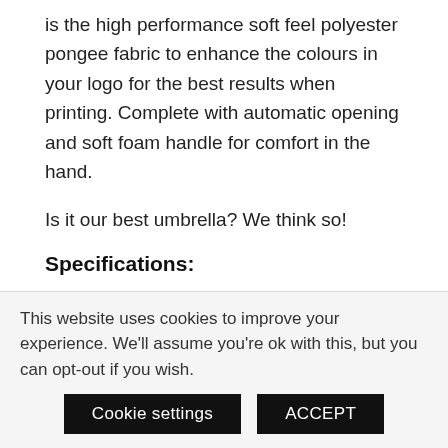is the high performance soft feel polyester pongee fabric to enhance the colours in your logo for the best results when printing. Complete with automatic opening and soft foam handle for comfort in the hand.
Is it our best umbrella? We think so!
Specifications:
Canopy coverage: 132 cm
This website uses cookies to improve your experience. We'll assume you're ok with this, but you can opt-out if you wish.